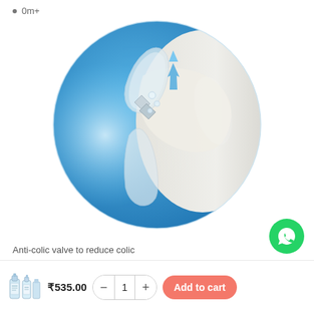0m+
[Figure (illustration): Close-up illustration of an anti-colic valve on a baby bottle nipple/teat, showing mechanism with air bubbles and an arrow indicating air flow direction, on a blue circular background]
Anti-colic valve to reduce colic
[Figure (illustration): WhatsApp contact button (green circle with phone handset icon)]
₹535.00
[Figure (photo): Small product thumbnail showing baby bottles]